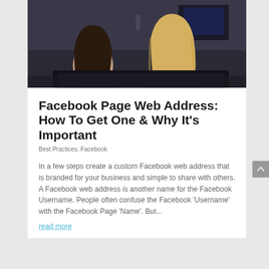[Figure (photo): Two young women looking at a computer screen together — one with dark hair resting her chin on her hand, one with long blonde hair — in a dimly lit office setting.]
Facebook Page Web Address: How To Get One & Why It's Important
Best Practices, Facebook
In a few steps create a custom Facebook web address that is branded for your business and simple to share with others. A Facebook web address is another name for the Facebook Username. People often confuse the Facebook 'Username' with the Facebook Page 'Name'. But...
read more